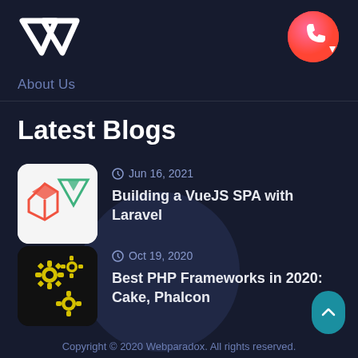[Figure (logo): Webparadox VP logo - white angular W and P letters forming a diamond/arrow shape]
[Figure (illustration): Pink/coral circular button with a phone/call icon and small triangle arrow]
About Us
Latest Blogs
[Figure (illustration): Blog thumbnail: white rounded rectangle background with red Laravel logo and green Vue.js logo]
Jun 16, 2021
Building a VueJS SPA with Laravel
[Figure (illustration): Blog thumbnail: black rounded square with yellow gear/cog icons]
Oct 19, 2020
Best PHP Frameworks in 2020: Cake, Phalcon
[Figure (illustration): Teal/cyan scroll-to-top button with upward arrow]
Copyright © 2020 Webparadox. All rights reserved.